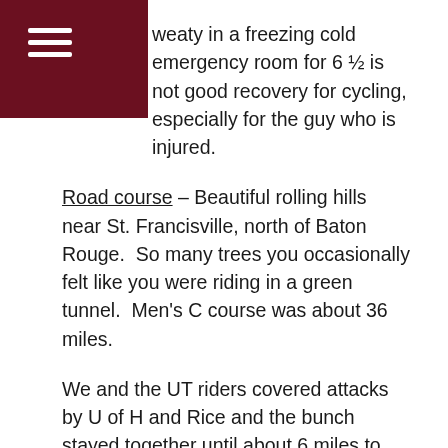☰
weaty in a freezing cold emergency room for 6 ½ is not good recovery for cycling, especially for the guy who is injured.
Road course – Beautiful rolling hills near St. Francisville, north of Baton Rouge.  So many trees you occasionally felt like you were riding in a green tunnel.  Men's C course was about 36 miles.
We and the UT riders covered attacks by U of H and Rice and the bunch stayed together until about 6 miles to go.  Zane Lybrand had given me some tips about when to go and not go and they all came into play for most of the race and served me well.  Remembering something Willie Allen told me, I went about as hard as I could off the front for about a mile to try to break the group up.  I still think it was a decent move even